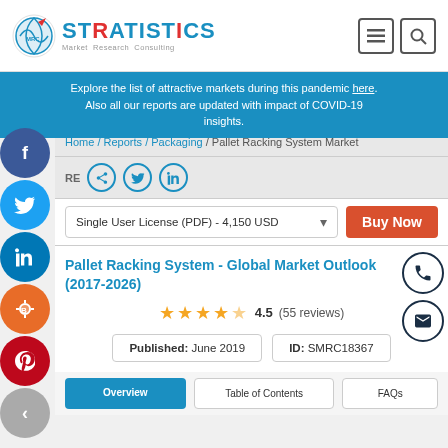Stratistics Market Research Consulting
Explore the list of attractive markets during this pandemic here. Also all our reports are updated with impact of COVID-19 insights.
Home / Reports / Packaging / Pallet Racking System Market
SHARE
Single User License (PDF) - 4,150 USD  Buy Now
Pallet Racking System - Global Market Outlook (2017-2026)
4.5 (55 reviews)
Published: June 2019   ID: SMRC18367